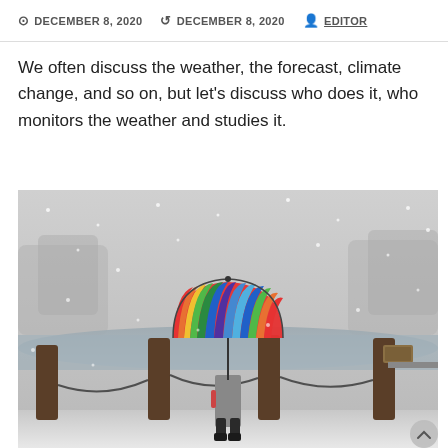DECEMBER 8, 2020  DECEMBER 8, 2020  EDITOR
We often discuss the weather, the forecast, climate change, and so on, but let's discuss who does it, who monitors the weather and studies it.
[Figure (photo): Person standing in a snowy park scene holding a large colorful rainbow umbrella, facing away from camera toward a lake, with wooden posts and chain fence in foreground, snow falling, bare trees in background.]